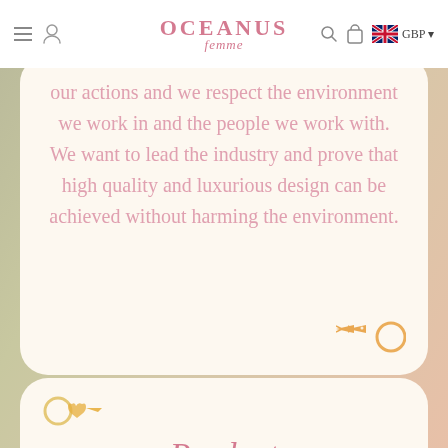OCEANUS Femme — Navigation bar with menu, user, search, bag icons, GBP currency selector
our actions and we respect the environment we work in and the people we work with. We want to lead the industry and prove that high quality and luxurious design can be achieved without harming the environment.
[Figure (illustration): Decorative fish and circle icons in gold/pink at bottom-right of card]
[Figure (illustration): Decorative ring and heart arrow icons in gold at top-left of lower card]
Product
When it...